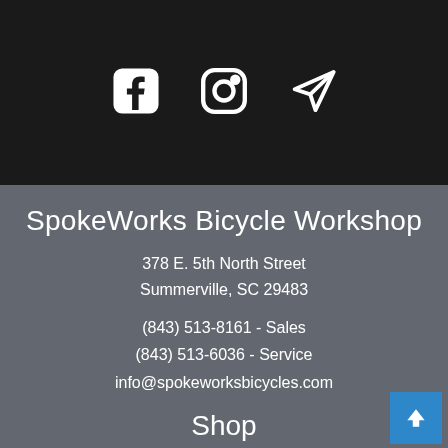[Figure (screenshot): Social media icons: Facebook, Instagram, and a send/paper-plane icon on a dark background header bar]
SpokeWorks Bicycle Workshop
378 E. 5th North Street
Summerville, SC 29483
(843) 513-8161 - Sales
(843) 513-6036 - Service
info@spokeworksbicycles.com
Shop
Bikes
Apparel